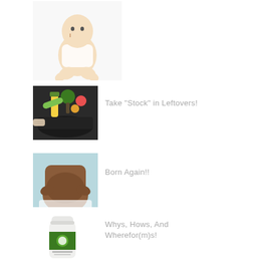[Figure (photo): Baby sitting on white background touching its nose, wearing white onesie]
[Figure (photo): Vegetables including corn, broccoli, and other vegetables being placed into a pot]
Take "Stock" in Leftovers!
[Figure (photo): Pregnant woman's belly being cradled with her hands, light blue background]
Born Again!!
[Figure (photo): A white supplement bottle with a green label]
Whys, Hows, And Wherefor(m)s!